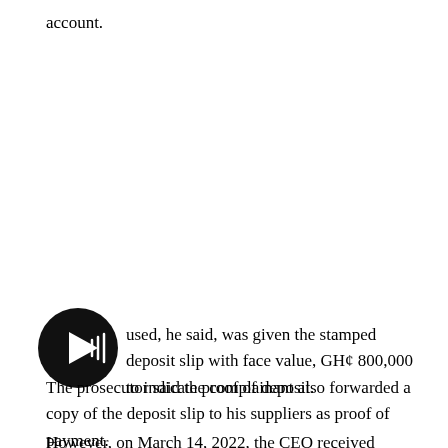account.
[Figure (other): Black circular play button icon with white triangular play symbol]
used, he said, was given the stamped deposit slip with face value, GH¢ 800,000 to indicate proof of deposit.
The prosecutor said the complainant also forwarded a copy of the deposit slip to his suppliers as proof of payment.
However, on March 14, 2022, the CEO received feedback